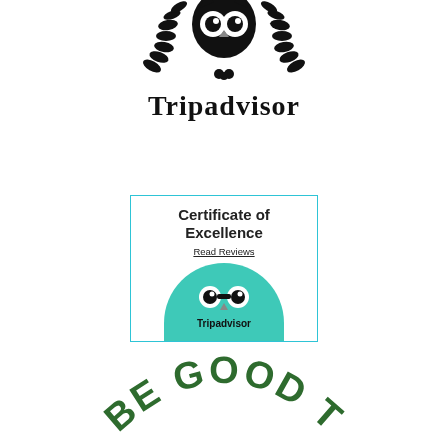[Figure (logo): Tripadvisor owl logo with laurel wreath and 'Tripadvisor' wordmark in black]
[Figure (logo): Tripadvisor Certificate of Excellence badge with teal border, bold text 'Certificate of Excellence', 'Read Reviews' underlined link, and green circular Tripadvisor owl logo at bottom]
[Figure (logo): Partial green arched text reading 'BE GOOD TO' in dark green block letters, bottom of page]